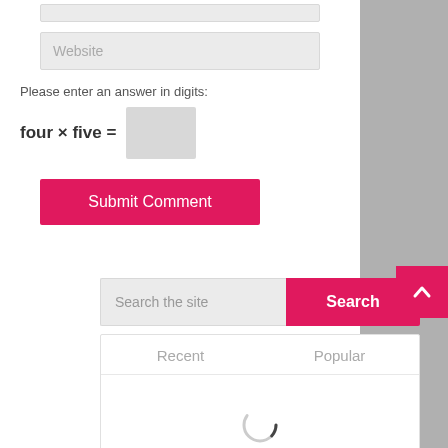[Figure (screenshot): Website input field (partially visible at top)]
[Figure (screenshot): Website text input field with placeholder text 'Website']
Please enter an answer in digits:
[Figure (screenshot): Submit Comment button (pink/magenta)]
[Figure (screenshot): Search bar with 'Search the site' placeholder and pink Search button]
[Figure (screenshot): Recent / Popular tabs panel with loading spinner]
[Figure (screenshot): Back to top button (pink arrow up) at right edge]